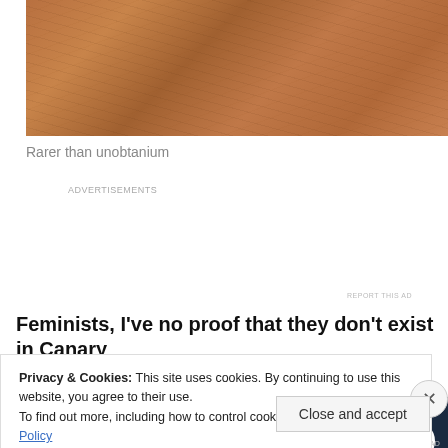[Figure (photo): Close-up photo of human skin with a brownish-copper tone texture]
Rarer than unobtanium
[Figure (screenshot): Advertisement banner: 'Opinions. We all have them!' with WordPress and FreewayMedia logos on dark navy background]
Feminists, I've no proof that they don't exist in Canary
Privacy & Cookies: This site uses cookies. By continuing to use this website, you agree to their use.
To find out more, including how to control cookies, see here: Cookie Policy